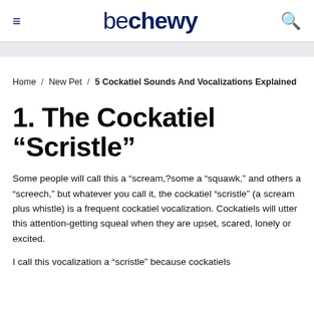be chewy [hamburger menu] [search icon]
Home / New Pet / 5 Cockatiel Sounds And Vocalizations Explained
1. The Cockatiel “Scristle”
Some people will call this a “scream,?some a “squawk,” and others a “screech,” but whatever you call it, the cockatiel “scristle” (a scream plus whistle) is a frequent cockatiel vocalization. Cockatiels will utter this attention-getting squeal when they are upset, scared, lonely or excited.
I call this vocalization a “scristle” because cockatiels